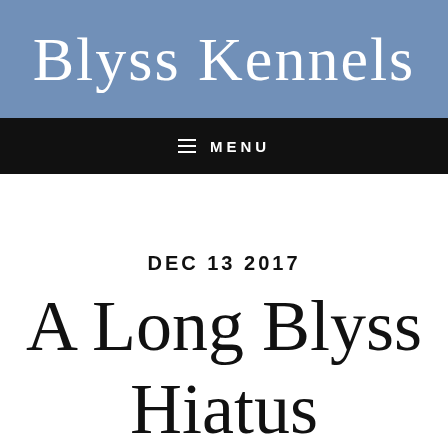Blyss Kennels
MENU
DEC 13 2017
A Long Blyss Hiatus